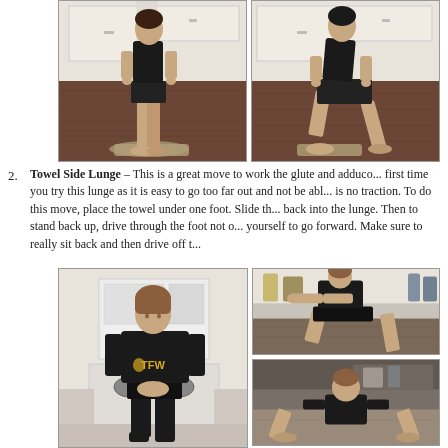[Figure (photo): Two side-by-side photos showing a person performing a lunge exercise on a towel on a hardwood floor in a kitchen/hallway setting. Left photo shows starting position standing, right photo shows the lunge position.]
Towel Side Lunge – This is a great move to work the glute and adducto... first time you try this lunge as it is easy to go too far out and not be abl... is no traction. To do this move, place the towel under one foot. Slide th... back into the lunge. Then to stand back up, drive through the foot not o... yourself to go forward. Make sure to really sit back and then drive off t...
[Figure (photo): Three photos showing a woman in a black TFW t-shirt performing a towel side lunge exercise in a kitchen. Left large photo shows starting position standing, top right shows the lunge position with arms extended, bottom right shows a deeper lunge/squat position.]